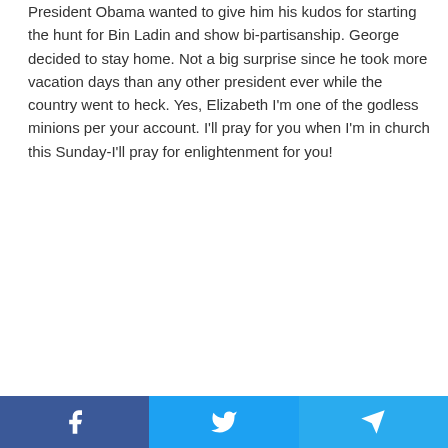President Obama wanted to give him his kudos for starting the hunt for Bin Ladin and show bi-partisanship. George decided to stay home. Not a big surprise since he took more vacation days than any other president ever while the country went to heck. Yes, Elizabeth I'm one of the godless minions per your account. I'll pray for you when I'm in church this Sunday-I'll pray for enlightenment for you!
AAA
May 7, 2011 at 9:37 pm
What a pile of crap. Obma is doing his best to improve this country, now wether you agree with his policy or not, you should have the decency to admit that. But, you go out of your way to make a national concern that can unite the country into a political issue against